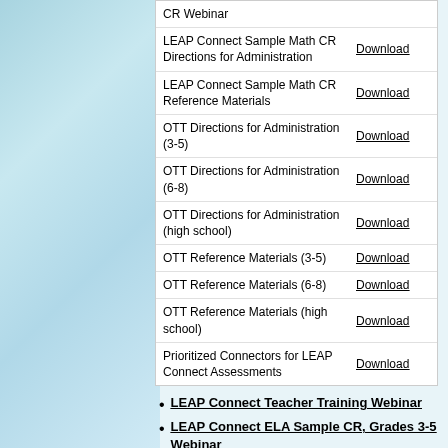| Resource | Link |
| --- | --- |
| CR Webinar |  |
| LEAP Connect Sample Math CR Directions for Administration | Download |
| LEAP Connect Sample Math CR Reference Materials | Download |
| OTT Directions for Administration (3-5) | Download |
| OTT Directions for Administration (6-8) | Download |
| OTT Directions for Administration (high school) | Download |
| OTT Reference Materials (3-5) | Download |
| OTT Reference Materials (6-8) | Download |
| OTT Reference Materials (high school) | Download |
| Prioritized Connectors for LEAP Connect Assessments | Download |
LEAP Connect Teacher Training Webinar
LEAP Connect ELA Sample CR, Grades 3-5 Webinar
LEAP Connect ELA Sample CR, Grades 6-8, 11 Webinar